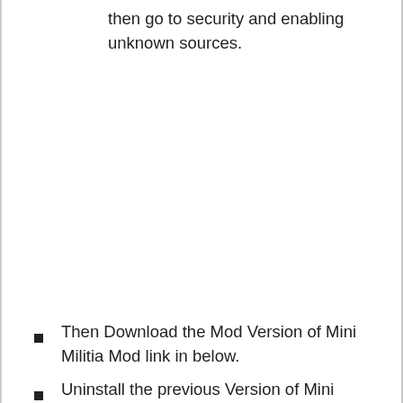then go to security and enabling unknown sources.
Then Download the Mod Version of Mini Militia Mod link in below.
Uninstall the previous Version of Mini Militia.
Now install the downloaded Mini Militia Mod Apk